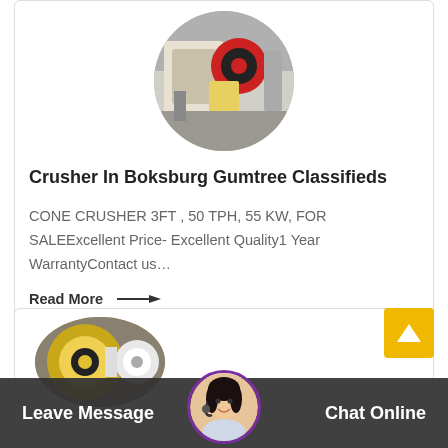[Figure (photo): Circular cropped photo of industrial jaw crusher machinery in a factory setting]
Crusher In Boksburg Gumtree Classifieds
CONE CRUSHER 3FT , 50 TPH, 55 KW, FOR SALEExcellent Price- Excellent Quality1 Year WarrantyContact us…
Read More →
[Figure (photo): Circular cropped photo of industrial yellow and white roller crusher machinery]
[Figure (photo): Customer service representative avatar with headset, purple border circle]
Leave Message
Chat Online